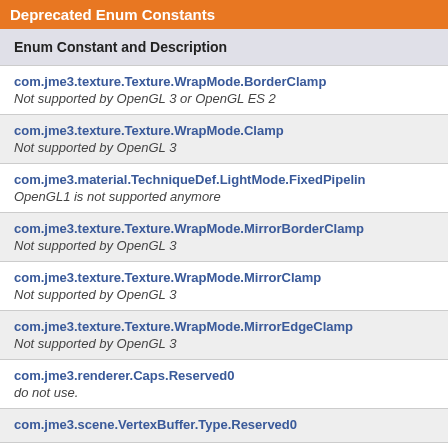Deprecated Enum Constants
| Enum Constant and Description |
| --- |
| com.jme3.texture.Texture.WrapMode.BorderClamp
Not supported by OpenGL 3 or OpenGL ES 2 |
| com.jme3.texture.Texture.WrapMode.Clamp
Not supported by OpenGL 3 |
| com.jme3.material.TechniqueDef.LightMode.FixedPipelin…
OpenGL1 is not supported anymore |
| com.jme3.texture.Texture.WrapMode.MirrorBorderClamp…
Not supported by OpenGL 3 |
| com.jme3.texture.Texture.WrapMode.MirrorClamp
Not supported by OpenGL 3 |
| com.jme3.texture.Texture.WrapMode.MirrorEdgeClamp
Not supported by OpenGL 3 |
| com.jme3.renderer.Caps.Reserved0
do not use. |
| com.jme3.scene.VertexBuffer.Type.Reserved0 |